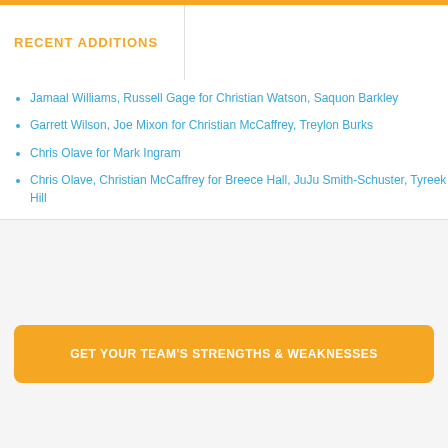RECENT ADDITIONS
Jamaal Williams, Russell Gage for Christian Watson, Saquon Barkley
Garrett Wilson, Joe Mixon for Christian McCaffrey, Treylon Burks
Chris Olave for Mark Ingram
Chris Olave, Christian McCaffrey for Breece Hall, JuJu Smith-Schuster, Tyreek Hill
GET YOUR TEAM'S STRENGTHS & WEAKNESSES